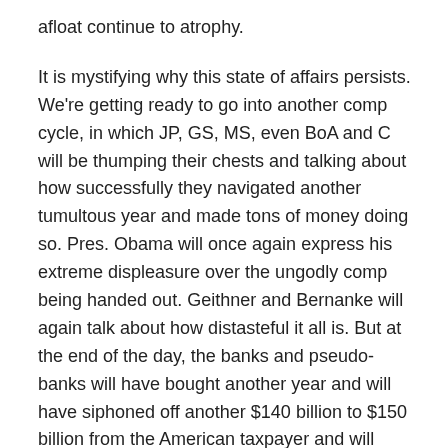afloat continue to atrophy.
It is mystifying why this state of affairs persists. We're getting ready to go into another comp cycle, in which JP, GS, MS, even BoA and C will be thumping their chests and talking about how successfully they navigated another tumultous year and made tons of money doing so. Pres. Obama will once again express his extreme displeasure over the ungodly comp being handed out. Geithner and Bernanke will again talk about how distasteful it all is. But at the end of the day, the banks and pseudo-banks will have bought another year and will have siphoned off another $140 billion to $150 billion from the American taxpayer and will have enriched themselves. So, net net, a little bad press is endured, everyone's richer, and another year gets going so it can all be done one more time.
What we really need is for the Obama administration to do another victory lap saying they prevented the collapse of market economies. And the Fed's thinking they finally hae